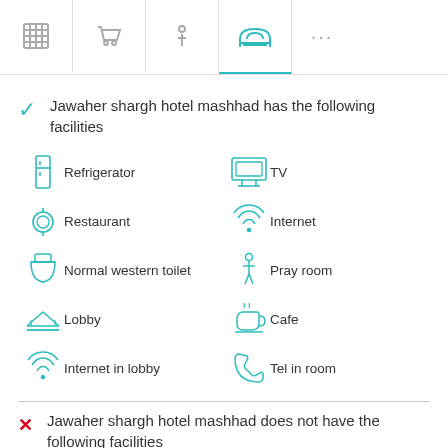[Figure (infographic): Top navigation bar with hotel, cart, info, sofa (active/teal), and more icons]
Jawaher shargh hotel mashhad has the following facilities
Refrigerator
TV
Restaurant
Internet
Normal western toilet
Pray room
Lobby
Cafe
Internet in lobby
Tel in room
Jawaher shargh hotel mashhad does not have the following facilities